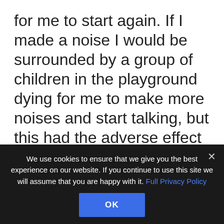for me to start again. If I made a noise I would be surrounded by a group of children in the playground dying for me to make more noises and start talking, but this had the adverse effect and sent me back into my shell and made it even harder. I remember standing on my own in the playground against the wall, I remember the dinner ladies coming over and holding my hand
We use cookies to ensure that we give you the best experience on our website. If you continue to use this site we will assume that you are happy with it. Full Privacy Policy